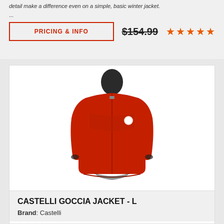detail make a difference even on a simple, basic winter jacket.
...
PRICING & INFO
$154.99
[Figure (other): 5 orange star rating icons]
[Figure (photo): Red Castelli Goccia cycling jacket on mannequin, long-sleeved, with zip front and high collar]
CASTELLI GOCCIA JACKET - L
Brand: Castelli